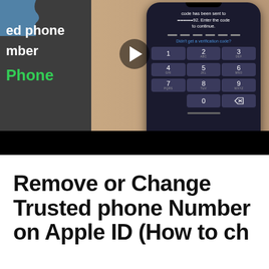[Figure (screenshot): Video thumbnail showing an iPhone displaying a verification code entry screen with a numeric keypad. Left side shows dark panel with text 'ed phone' and 'mber' in white and 'Phone' in green. Right side shows a hand holding a phone with a 6-digit code entry UI and keypad. A play button is visible in the center top area.]
Remove or Change Trusted phone Number on Apple ID (How to ch...